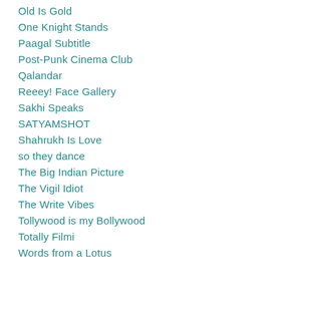Old Is Gold
One Knight Stands
Paagal Subtitle
Post-Punk Cinema Club
Qalandar
Reeey! Face Gallery
Sakhi Speaks
SATYAMSHOT
Shahrukh Is Love
so they dance
The Big Indian Picture
The Vigil Idiot
The Write Vibes
Tollywood is my Bollywood
Totally Filmi
Words from a Lotus